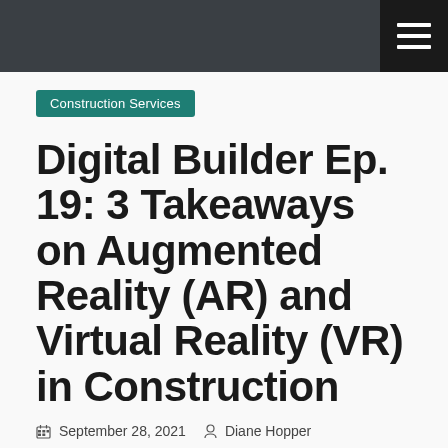Construction Services
Digital Builder Ep. 19: 3 Takeaways on Augmented Reality (AR) and Virtual Reality (VR) in Construction
September 28, 2021   Diane Hopper
[Figure (photo): Partial view of a photo showing warm-toned colors, likely a construction or AR/VR related image]